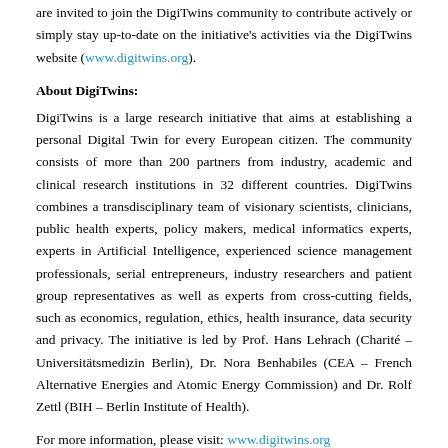are invited to join the DigiTwins community to contribute actively or simply stay up-to-date on the initiative's activities via the DigiTwins website (www.digitwins.org).
About DigiTwins:
DigiTwins is a large research initiative that aims at establishing a personal Digital Twin for every European citizen. The community consists of more than 200 partners from industry, academic and clinical research institutions in 32 different countries. DigiTwins combines a transdisciplinary team of visionary scientists, clinicians, public health experts, policy makers, medical informatics experts, experts in Artificial Intelligence, experienced science management professionals, serial entrepreneurs, industry researchers and patient group representatives as well as experts from cross-cutting fields, such as economics, regulation, ethics, health insurance, data security and privacy. The initiative is led by Prof. Hans Lehrach (Charité – Universitätsmedizin Berlin), Dr. Nora Benhabiles (CEA – French Alternative Energies and Atomic Energy Commission) and Dr. Rolf Zettl (BIH – Berlin Institute of Health).
For more information, please visit: www.digitwins.org
About SYSBIO/ISBE Italy: